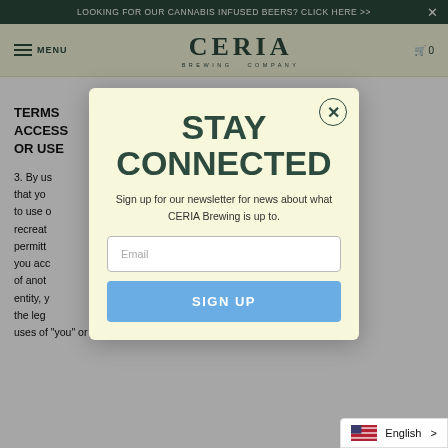LOOKING FOR OUR CANNABIS INFUSED BEERS? CLICK HERE >>
[Figure (logo): CERIA BREWING COMPANY logo in dark green serif lettering]
TERMS OF USE AND CONDITIONS FOR ACCESS TO OR USE OF THIS WEBSITE
3. By using this website, you represent and warrant that you are of legal drinking age (intending to use of recreational cannabis and have been legally permitted … A. If you access … behalf of another … legal entity, you … have the legal … uses of "you" or "your" in these Terms
[Figure (screenshot): Modal popup: STAY CONNECTED - Sign up for our newsletter for news about what CERIA Brewing is up to. Email input field and SIGN UP button.]